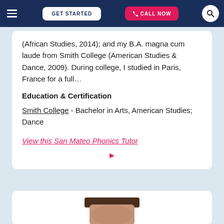GET STARTED | CALL NOW
(African Studies, 2014); and my B.A. magna cum laude from Smith College (American Studies & Dance, 2009). During college, I studied in Paris, France for a full…
Education & Certification
Smith College - Bachelor in Arts, American Studies; Dance
View this San Mateo Phonics Tutor
[Figure (other): Red right-pointing play/arrow triangle icon]
[Figure (photo): Partially visible profile photo of a tutor at the bottom of the page]